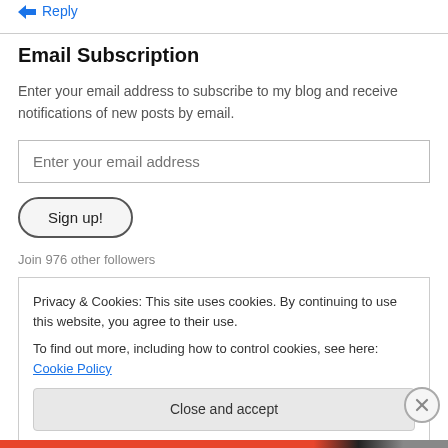↵ Reply
Email Subscription
Enter your email address to subscribe to my blog and receive notifications of new posts by email.
Enter your email address
Sign up!
Join 976 other followers
Privacy & Cookies: This site uses cookies. By continuing to use this website, you agree to their use.
To find out more, including how to control cookies, see here: Cookie Policy
Close and accept